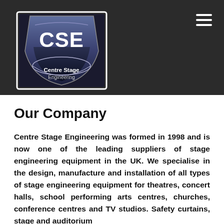[Figure (logo): Centre Stage Engineering logo - CSE letters on dark shield/badge shape with 'Centre Stage Engineering' text below]
Our Company
Centre Stage Engineering was formed in 1998 and is now one of the leading suppliers of stage engineering equipment in the UK. We specialise in the design, manufacture and installation of all types of stage engineering equipment for theatres, concert halls, school performing arts centres, churches, conference centres and TV studios. Safety curtains, stage and auditorium